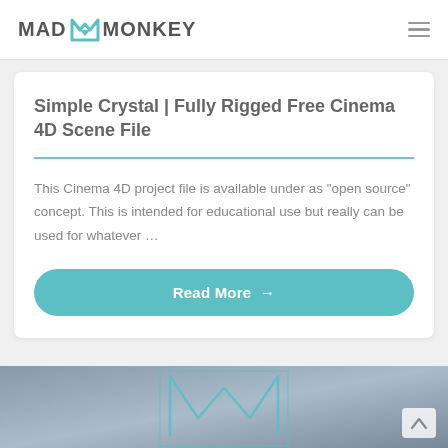MAD MONKEY
Simple Crystal | Fully Rigged Free Cinema 4D Scene File
This Cinema 4D project file is available under as “open source” concept. This is intended for educational use but really can be used for whatever …
Read More →
[Figure (logo): Mad Monkey logo with teal M icon and gray text at bottom of page]